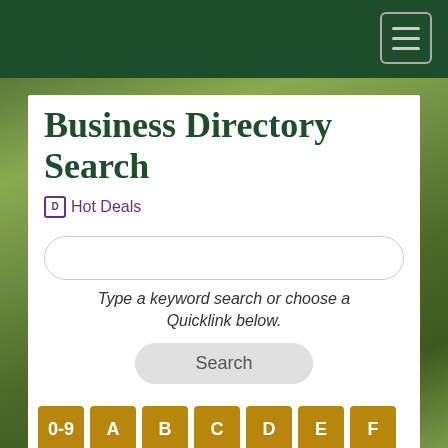Business Directory Search
Hot Deals
Type a keyword search or choose a Quicklink below.
Search
0-9
A
B
C
D
E
F
G
H
I
J
K
L
M